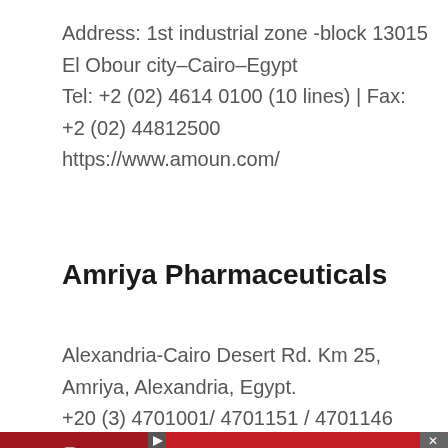Address: 1st industrial zone -block 13015 El Obour city–Cairo–Egypt
Tel: +2 (02) 4614 0100 (10 lines) | Fax: +2 (02) 44812500
https://www.amoun.com/
Amriya Pharmaceuticals
Alexandria-Cairo Desert Rd. Km 25, Amriya, Alexandria, Egypt.
+20 (3) 4701001/ 4701151 / 4701146
[Figure (photo): Advertisement banner with red background showing a hand holding a Narcan nasal spray device. Text reads: 'Text LiveLongDC to 888-811 to find naloxone near you.' with LiveLong DC, DBH, and DC Government logos at the bottom.]